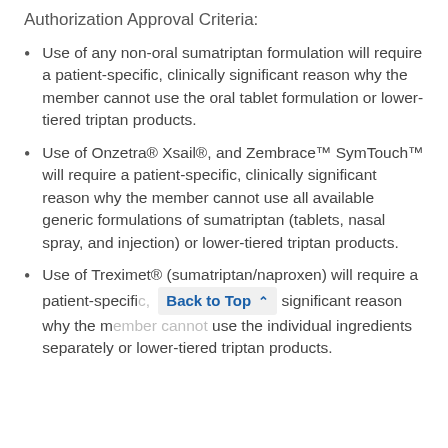Authorization Approval Criteria:
Use of any non-oral sumatriptan formulation will require a patient-specific, clinically significant reason why the member cannot use the oral tablet formulation or lower-tiered triptan products.
Use of Onzetra® Xsail®, and Zembrace™ SymTouch™ will require a patient-specific, clinically significant reason why the member cannot use all available generic formulations of sumatriptan (tablets, nasal spray, and injection) or lower-tiered triptan products.
Use of Treximet® (sumatriptan/naproxen) will require a patient-specific, [Back to Top] significant reason why the member cannot use the individual ingredients separately or lower-tiered triptan products.